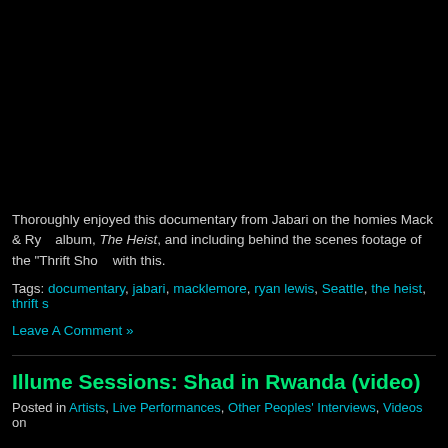[Figure (other): Black video/image embed area at top of page]
Thoroughly enjoyed this documentary from Jabari on the homies Mack & Ry... album, The Heist, and including behind the scenes footage of the "Thrift Sho..." with this.
Tags: documentary, jabari, macklemore, ryan lewis, Seattle, the heist, thrift s...
Leave A Comment »
Illume Sessions: Shad in Rwanda (video)
Posted in Artists, Live Performances, Other Peoples' Interviews, Videos on...